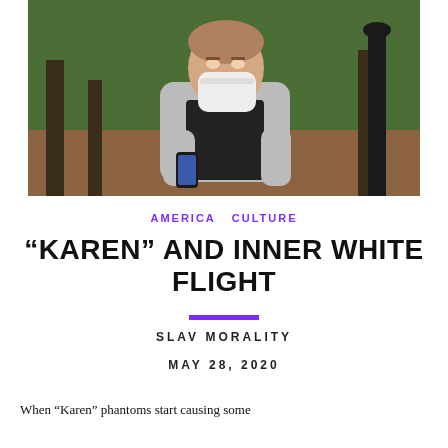[Figure (photo): A woman wearing a white face mask and gray hoodie, holding a smartphone, standing in a wooded park area with trees and a black lamp post in the background.]
AMERICA   CULTURE
“KAREN” AND INNER WHITE FLIGHT
SLAV MORALITY
MAY 28, 2020
When “Karen” phantoms start causing some...